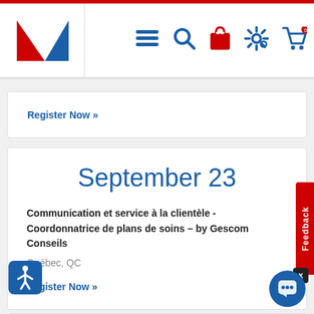[Figure (screenshot): Website navigation bar with logo (red/white diagonal design), hamburger menu, search, shopping bag, settings gear, and cart icon with 0 badge]
Register Now »
September 23
Communication et service à la clientèle - Coordonnatrice de plans de soins – by Gescom Conseils
Québec, QC
Register Now »
September 26